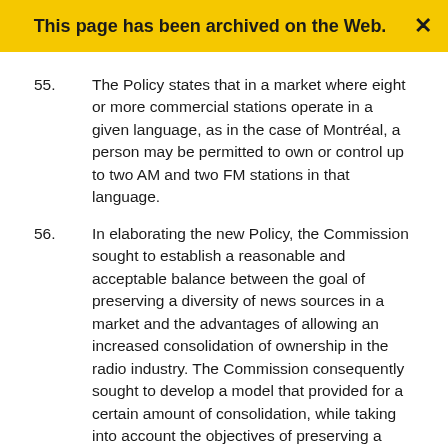This page has been archived on the Web.
55.      The Policy states that in a market where eight or more commercial stations operate in a given language, as in the case of Montréal, a person may be permitted to own or control up to two AM and two FM stations in that language.
56.      In elaborating the new Policy, the Commission sought to establish a reasonable and acceptable balance between the goal of preserving a diversity of news sources in a market and the advantages of allowing an increased consolidation of ownership in the radio industry. The Commission consequently sought to develop a model that provided for a certain amount of consolidation, while taking into account the objectives of preserving a diversity of voices and maintaining competition.
The Montréal radio market
57.      Montréal's French-language radio market is